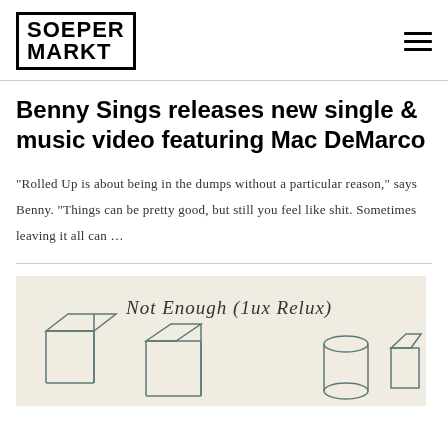SOEPER MARKT
Benny Sings releases new single & music video featuring Mac DeMarco
“Rolled Up is about being in the dumps without a particular reason,” says Benny. “Things can be pretty good, but still you feel like shit. Sometimes leaving it all can …
[Figure (illustration): Album artwork showing hand-drawn geometric shapes (boxes, cylinders) on a cream/beige background with cursive handwritten text reading 'Not Enough (1ux Relux)']